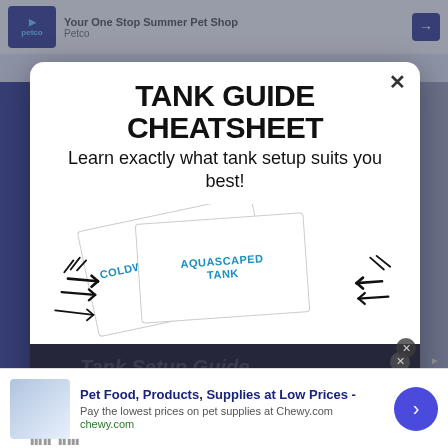[Figure (screenshot): Screenshot of a webpage with a modal popup overlaying a web page about fish tanks. The modal is titled 'TANK GUIDE CHEATSHEET' with subtitle 'Learn exactly what tank setup suits you best!' and shows illustrated aquarium cheatsheet cards. There is also a video player overlay showing 'No compatible source was found for this media.' and a bottom advertisement for Chewy.com reading 'Pet Food, Products, Supplies at Low Prices - Pay the lowest prices on pet supplies at Chewy.com'.]